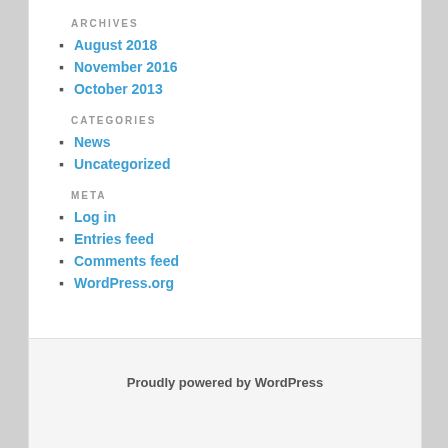ARCHIVES
August 2018
November 2016
October 2013
CATEGORIES
News
Uncategorized
META
Log in
Entries feed
Comments feed
WordPress.org
Proudly powered by WordPress